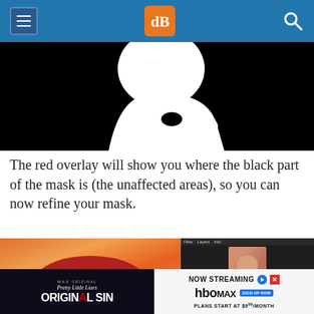dPS (Digital Photography School)
[Figure (photo): Black and white mask image showing a white silhouette of a person/figure on a black background]
The red overlay will show you where the black part of the mask is (the unaffected areas), so you can now refine your mask.
[Figure (screenshot): Screenshot showing a photo editing application (Lightroom) with a woman wearing a red hat against an orange autumn background, and the Lightroom panel visible on the right]
[Figure (photo): Advertisement banner for HBO Max showing Pretty Little Liars Original Sin streaming promotion]